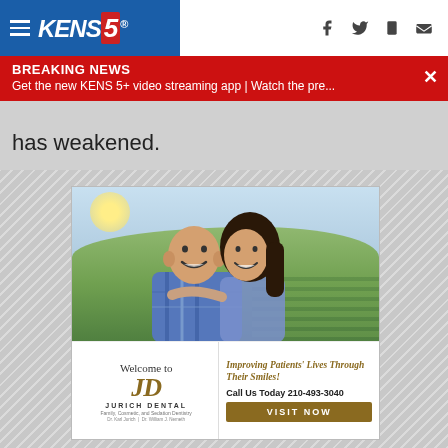KENS5 - Breaking News header with navigation icons
BREAKING NEWS
Get the new KENS 5+ video streaming app | Watch the pre...
has weakened.
[Figure (photo): Advertisement for Jurich Dental featuring a smiling couple outdoors with text: Welcome to Jurich Dental - Family, Cosmetic, and Sedation Dentistry. Improving Patients' Lives Through Their Smiles! Call Us Today 210-493-3040. VISIT NOW button.]